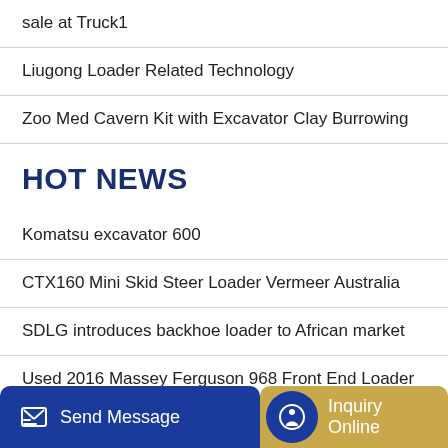sale at Truck1
Liugong Loader Related Technology
Zoo Med Cavern Kit with Excavator Clay Burrowing
HOT NEWS
Komatsu excavator 600
CTX160 Mini Skid Steer Loader Vermeer Australia
SDLG introduces backhoe loader to African market
Used 2016 Massey Ferguson 968 Front End Loader AgDealer
ing fo…
[Figure (other): Bottom action bar with Send Message button (blue) and Inquiry Online button (tan/gold)]